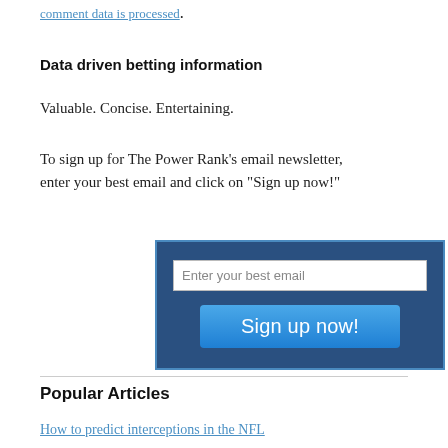comment data is processed.
Data driven betting information
Valuable. Concise. Entertaining.
To sign up for The Power Rank's email newsletter, enter your best email and click on "Sign up now!"
[Figure (other): Email newsletter signup widget with a dark blue background, an email input field labeled 'Enter your best email', and a blue 'Sign up now!' button.]
Popular Articles
How to predict interceptions in the NFL